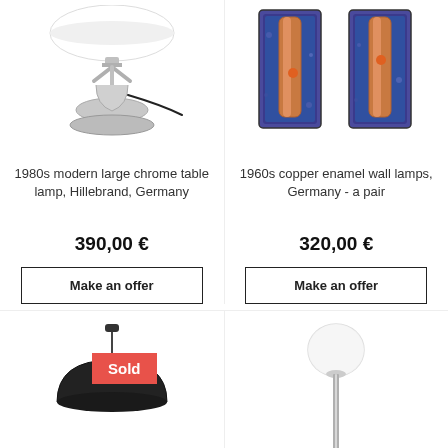[Figure (photo): 1980s modern large chrome table lamp with conical chrome base, Hillebrand Germany]
1980s modern large chrome table lamp, Hillebrand, Germany
390,00 €
Make an offer
[Figure (photo): 1960s copper enamel wall lamps, Germany - a pair, two rectangular blue enamel sconces with copper cylindrical tubes]
1960s copper enamel wall lamps, Germany - a pair
320,00 €
Make an offer
[Figure (photo): Pendant lamp with dark dome shade, sold]
Sold
[Figure (photo): Floor lamp with white globe shade on chrome stem]